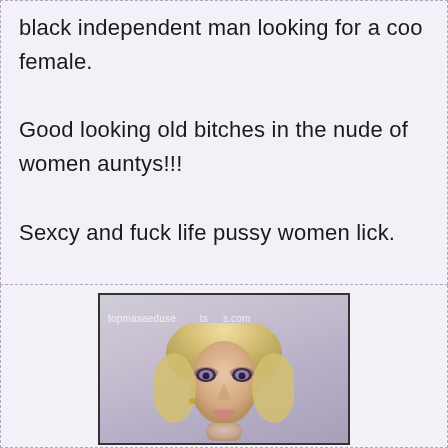black independent man looking for a coo female.

Good looking old bitches in the nude of women auntys!!!

Sexcy and fuck life pussy women lick.
[Figure (photo): Photo of a blonde woman with wavy hair and heavy eye makeup, with watermark text 'topmasageduse...ts....s.com' overlaid]